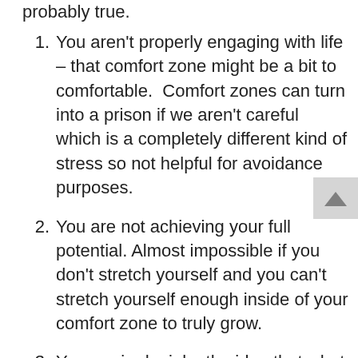probably true.
You aren't properly engaging with life – that comfort zone might be a bit to comfortable.  Comfort zones can turn into a prison if we aren't careful which is a completely different kind of stress so not helpful for avoidance purposes.
You are not achieving your full potential. Almost impossible if you don't stretch yourself and you can't stretch yourself enough inside of your comfort zone to truly grow.
You are in denial – the idea that what you don't acknowledge doesn't exist. But, just because you don't